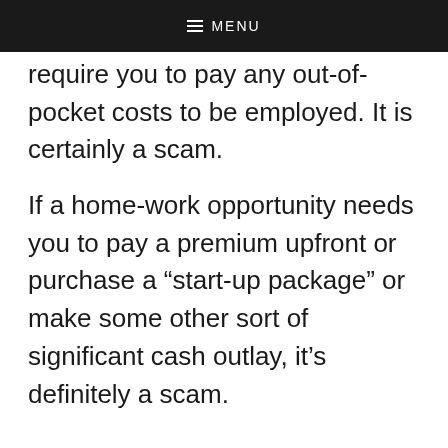MENU
require you to pay any out-of-pocket costs to be employed. It is certainly a scam.
If a home-work opportunity needs you to pay a premium upfront or purchase a “start-up package” or make some other sort of significant cash outlay, it’s definitely a scam.